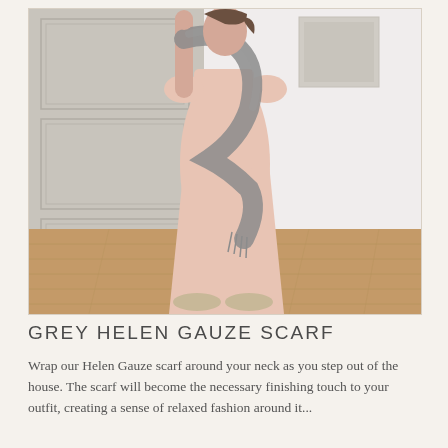[Figure (photo): A woman wearing a long pale pink loose dress and a grey gauze scarf draped around her neck, standing in front of a grey panelled door on a wood floor. She is holding the scarf up with one hand. She wears beige flat shoes.]
GREY HELEN GAUZE SCARF
Wrap our Helen Gauze scarf around your neck as you step out of the house. The scarf will become the necessary finishing touch to your outfit, creating a sense of relaxed fashion around it...